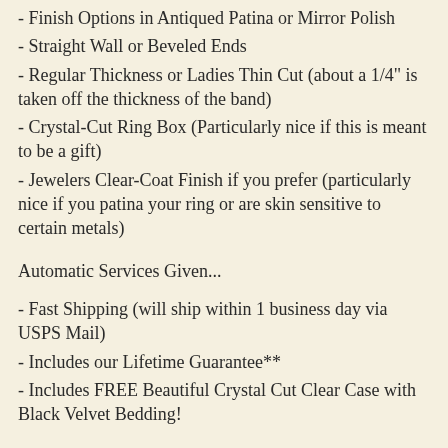- Finish Options in Antiqued Patina or Mirror Polish
- Straight Wall or Beveled Ends
- Regular Thickness or Ladies Thin Cut (about a 1/4" is taken off the thickness of the band)
- Crystal-Cut Ring Box (Particularly nice if this is meant to be a gift)
- Jewelers Clear-Coat Finish if you prefer (particularly nice if you patina your ring or are skin sensitive to certain metals)
Automatic Services Given...
- Fast Shipping (will ship within 1 business day via USPS Mail)
- Includes our Lifetime Guarantee**
- Includes FREE Beautiful Crystal Cut Clear Case with Black Velvet Bedding!
Features:
Custom Inlay...